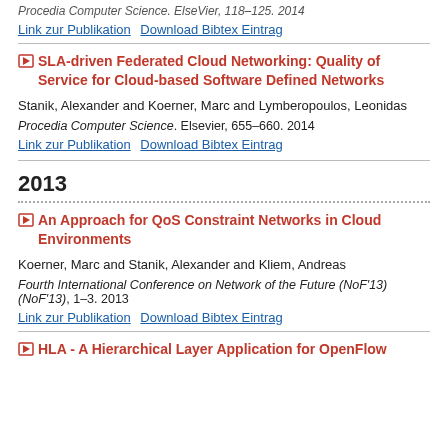Procedia Computer Science. ElseVier, 118–125. 2014
Link zur Publikation   Download Bibtex Eintrag
SLA-driven Federated Cloud Networking: Quality of Service for Cloud-based Software Defined Networks
Stanik, Alexander and Koerner, Marc and Lymberopoulos, Leonidas
Procedia Computer Science. Elsevier, 655–660. 2014
Link zur Publikation   Download Bibtex Eintrag
2013
An Approach for QoS Constraint Networks in Cloud Environments
Koerner, Marc and Stanik, Alexander and Kliem, Andreas
Fourth International Conference on Network of the Future (NoF'13) (NoF'13), 1–3. 2013
Link zur Publikation   Download Bibtex Eintrag
HLA - A Hierarchical Layer Application for OpenFlow